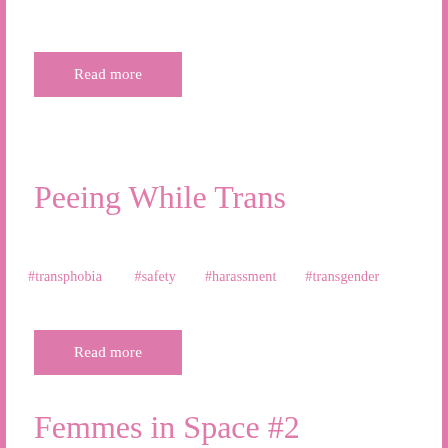Read more
Peeing While Trans
#transphobia   #safety   #harassment   #transgender
Read more
Femmes in Space #2